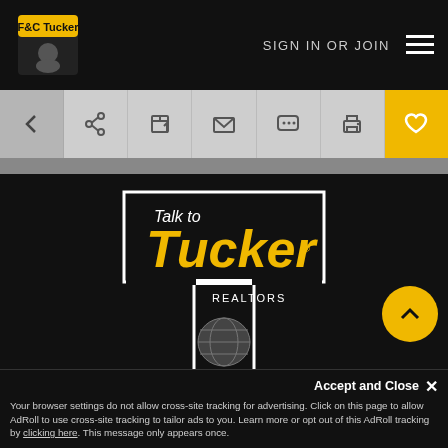F&C Tucker — SIGN IN OR JOIN
[Figure (screenshot): Website toolbar with back, share, edit, email, chat, print, and favorite (heart) buttons on gray background]
[Figure (logo): Talk to Tucker Realtors logo — white-bordered T shape with yellow Talk to Tucker text and globe graphic, centered on black background]
[Figure (screenshot): Social media icons: Facebook, Twitter, YouTube on black background]
Accept and Close ✕
Your browser settings do not allow cross-site tracking for advertising. Click on this page to allow AdRoll to use cross-site tracking to tailor ads to you. Learn more or opt out of this AdRoll tracking by clicking here. This message only appears once.